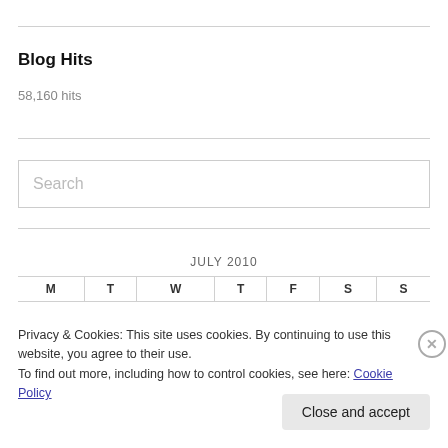Blog Hits
58,160 hits
[Figure (screenshot): Search input box with placeholder text 'Search']
JULY 2010
| M | T | W | T | F | S | S |
| --- | --- | --- | --- | --- | --- | --- |
Privacy & Cookies: This site uses cookies. By continuing to use this website, you agree to their use.
To find out more, including how to control cookies, see here: Cookie Policy
Close and accept